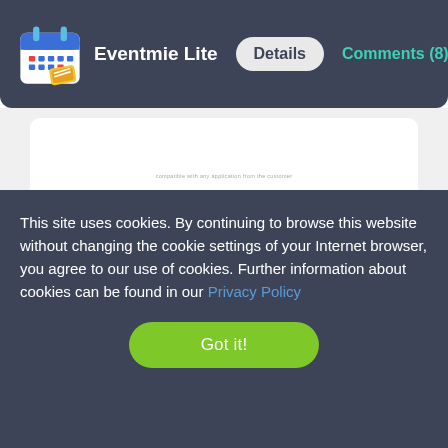Eventmie Lite  Details  Comments (8)
[Figure (screenshot): White card area with faint text in the middle of the page]
This site uses cookies. By continuing to browse this website without changing the cookie settings of your Internet browser, you agree to our use of cookies. Further information about cookies can be found in our Privacy Policy
Got it!